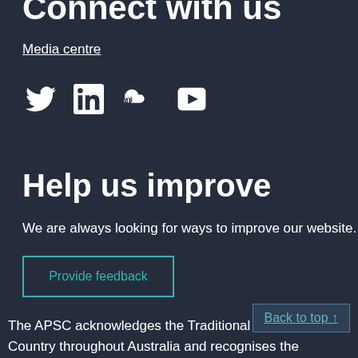Connect with us
Media centre
[Figure (other): Social media icons: Twitter, LinkedIn, SoundCloud, YouTube]
Help us improve
We are always looking for ways to improve our website.
Provide feedback
The APSC acknowledges the Traditional Custodians of Country throughout Australia and recognises the continuing connection to lands, waters and communities respect to Aboriginal and Torres Strait Islander cultures and to
Back to top ↑